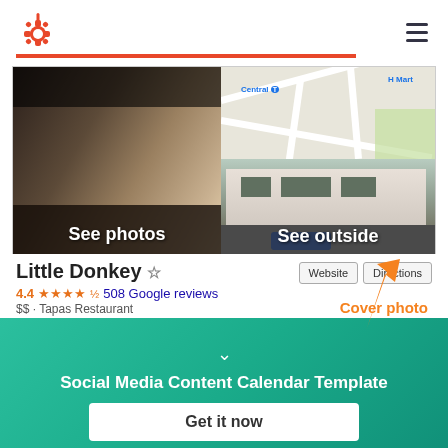[Figure (logo): HubSpot orange sprocket logo in top left]
[Figure (screenshot): Google Maps listing screenshot showing Little Donkey restaurant with interior photo (See photos), map view, street view (See outside), listing name, 4.4 star rating with 508 Google reviews, $$ Tapas Restaurant, Website and Directions buttons, orange arrow pointing to cover photo area]
Little Donkey ☆
4.4 ★★★★½ 508 Google reviews
$$ · Tapas Restaurant
Cover photo
Social Media Content Calendar Template
Get it now